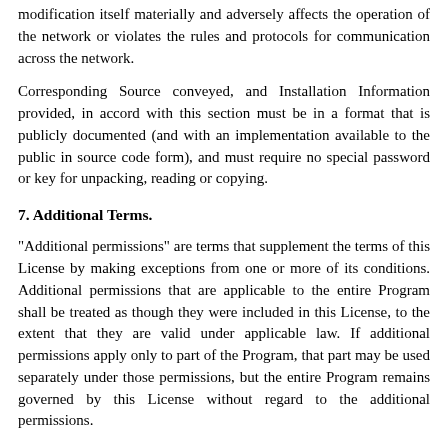modification itself materially and adversely affects the operation of the network or violates the rules and protocols for communication across the network.
Corresponding Source conveyed, and Installation Information provided, in accord with this section must be in a format that is publicly documented (and with an implementation available to the public in source code form), and must require no special password or key for unpacking, reading or copying.
7. Additional Terms.
"Additional permissions" are terms that supplement the terms of this License by making exceptions from one or more of its conditions. Additional permissions that are applicable to the entire Program shall be treated as though they were included in this License, to the extent that they are valid under applicable law. If additional permissions apply only to part of the Program, that part may be used separately under those permissions, but the entire Program remains governed by this License without regard to the additional permissions.
When you convey a copy of a covered work, you may at your option remove any additional permissions from that copy, or from any part of it. (Additional permissions may be written to require